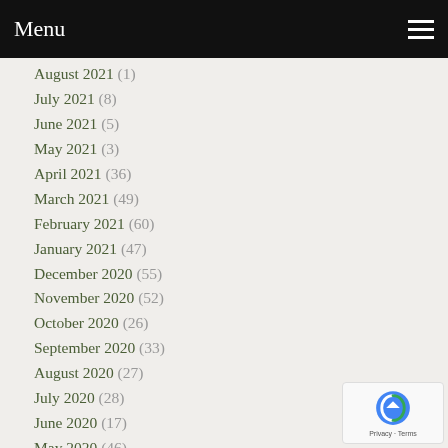Menu
August 2021 (1)
July 2021 (8)
June 2021 (5)
May 2021 (3)
April 2021 (36)
March 2021 (49)
February 2021 (60)
January 2021 (47)
December 2020 (55)
November 2020 (52)
October 2020 (26)
September 2020 (33)
August 2020 (27)
July 2020 (28)
June 2020 (17)
May 2020 (46)
April 2020 (47)
March 2020 (47)